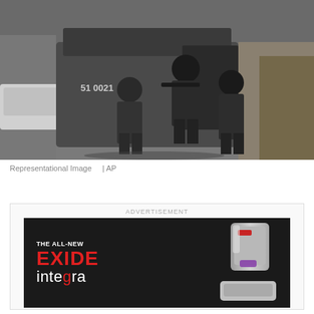[Figure (photo): Armed police/tactical unit officers in dark camouflage uniforms exiting or standing near a grey armored vehicle marked '51 0021'. Officers are carrying rifles. Urban street setting with a white car on the left and buildings/walls in the background.]
Representational Image    | AP
[Figure (infographic): Advertisement for 'The All-New EXIDE integra' product. Dark/black background with white and red text on the left and a silver battery/device unit on the right.]